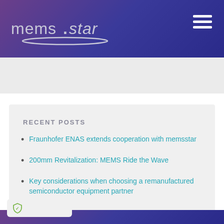memsstar
RECENT POSTS
Fraunhofer ENAS extends cooperation with memsstar
200mm Revitalization: MEMS Ride the Wave
Key considerations when choosing a remanufactured semiconductor equipment partner